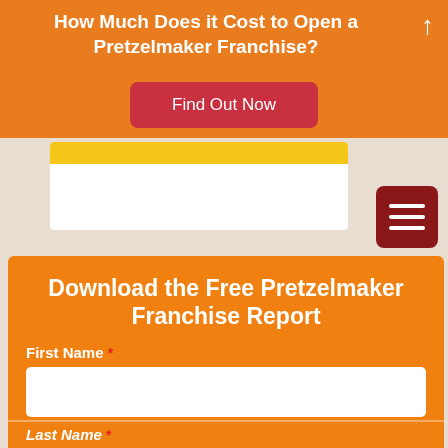How Much Does it Cost to Open a Pretzelmaker Franchise?
Find Out Now
[Figure (screenshot): Partial white card with yellow bar visible behind form section]
[Figure (other): Dark red hamburger menu button with three white horizontal lines]
Download the Free Pretzelmaker Franchise Report
First Name *
Last Name *